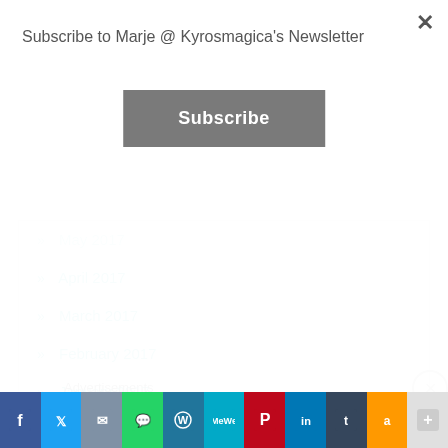Subscribe to Marje @ Kyrosmagica's Newsletter
Subscribe
» May 2017
» April 2017
» March 2017
» February 2017
» January 2017
» December 2016
» November 2016
» October 2016
Advertisements
[Figure (screenshot): Advertisement banner: Search, browse, and email with more privacy. DuckDuckGo logo.]
[Figure (infographic): Social sharing bar with buttons: Facebook, Twitter, Email, WhatsApp, WordPress, MeWe, Pinterest, LinkedIn, Tumblr, Amazon, More]